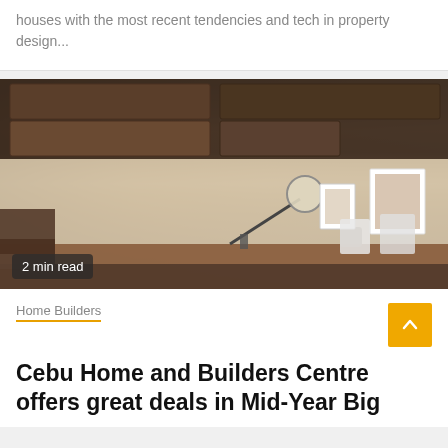houses with the most recent tendencies and tech in property design...
[Figure (photo): Interior room photo showing a wooden desk workspace with drawers, a lamp, makeup brushes in containers, framed photos on the wall, and white chairs in the background. An overlay reads '2 min read'.]
2 min read
Home Builders
Cebu Home and Builders Centre offers great deals in Mid-Year Big